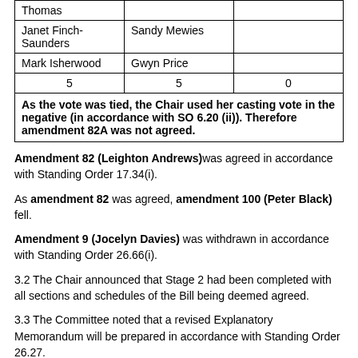|  |  |  |
| --- | --- | --- |
| Thomas |  |  |
| Janet Finch-Saunders | Sandy Mewies |  |
| Mark Isherwood | Gwyn Price |  |
| 5 | 5 | 0 |
| As the vote was tied, the Chair used her casting vote in the negative (in accordance with SO 6.20 (ii)). Therefore amendment 82A was not agreed. |  |  |
Amendment 82 (Leighton Andrews) was agreed in accordance with Standing Order 17.34(i).
As amendment 82 was agreed, amendment 100 (Peter Black) fell.
Amendment 9 (Jocelyn Davies) was withdrawn in accordance with Standing Order 26.66(i).
3.2 The Chair announced that Stage 2 had been completed with all sections and schedules of the Bill being deemed agreed.
3.3 The Committee noted that a revised Explanatory Memorandum will be prepared in accordance with Standing Order 26.27.